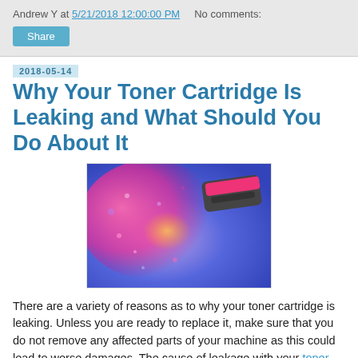Andrew Y at 5/21/2018 12:00:00 PM   No comments:
Share
2018-05-14
Why Your Toner Cartridge Is Leaking and What Should You Do About It
[Figure (photo): A toner cartridge leaking colorful pink and blue powder/toner]
There are a variety of reasons as to why your toner cartridge is leaking. Unless you are ready to replace it, make sure that you do not remove any affected parts of your machine as this could lead to worse damages. The cause of leakage with your toner cartridge can be determined in a few ways.